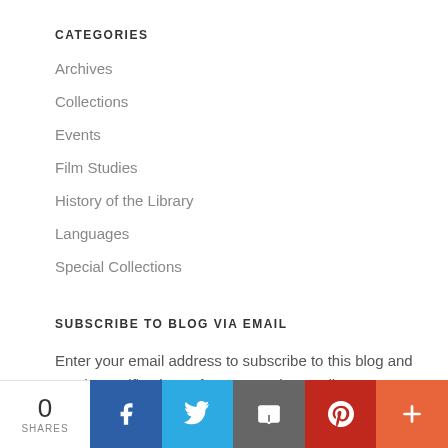CATEGORIES
Archives
Collections
Events
Film Studies
History of the Library
Languages
Special Collections
SUBSCRIBE TO BLOG VIA EMAIL
Enter your email address to subscribe to this blog and receive notifications of new posts by email.